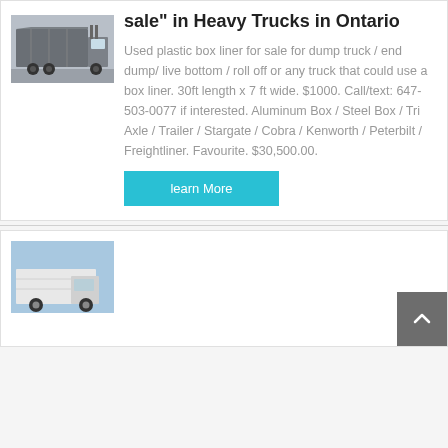[Figure (photo): Rear view of heavy truck with dump box, parked in lot]
Results for "docs for sale" in Heavy Trucks in Ontario
Used plastic box liner for sale for dump truck / end dump/ live bottom / roll off or any truck that could use a box liner. 30ft length x 7 ft wide. $1000. Call/text: 647-503-0077 if interested. Aluminum Box / Steel Box / Tri Axle / Trailer / Stargate / Cobra / Kenworth / Peterbilt / Freightliner. Favourite. $30,500.00.
learn More
[Figure (photo): White heavy truck partially visible at bottom of page]